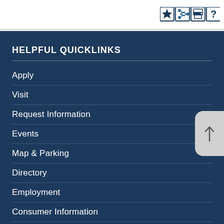[Figure (other): Toolbar icons: bookmark/star, share, print, help buttons in top-right corner]
HELPFUL QUICKLINKS
Apply
Visit
Request Information
Events
Map & Parking
Directory
Employment
Consumer Information
Sitemap